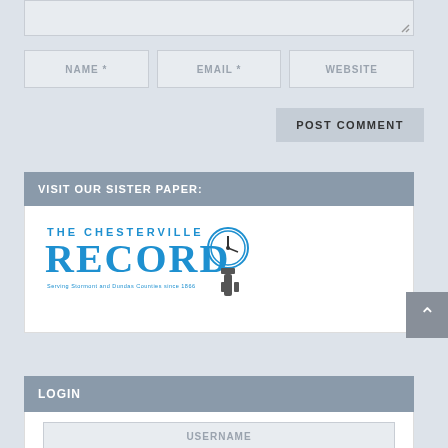[Figure (screenshot): Comment form textarea input box (partially visible at top)]
NAME *
EMAIL *
WEBSITE
POST COMMENT
VISIT OUR SISTER PAPER:
[Figure (logo): The Chesterville Record newspaper logo in blue with clock illustration]
LOGIN
USERNAME